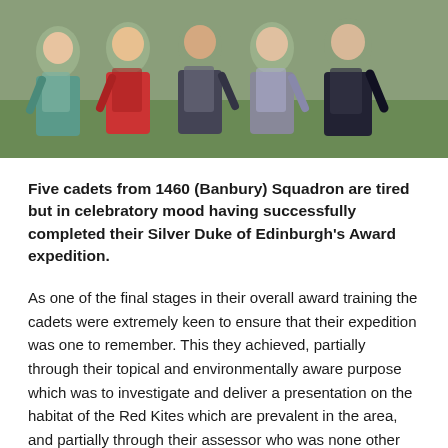[Figure (photo): Group photo of five cadets from 1460 (Banbury) Squadron, wearing backpacks and outdoor gear, standing together outdoors after completing their Silver Duke of Edinburgh's Award expedition.]
Five cadets from 1460 (Banbury) Squadron are tired but in celebratory mood having successfully completed their Silver Duke of Edinburgh's Award expedition.
As one of the final stages in their overall award training the cadets were extremely keen to ensure that their expedition was one to remember. This they achieved, partially through their topical and environmentally aware purpose which was to investigate and deliver a presentation on the habitat of the Red Kites which are prevalent in the area, and partially through their assessor who was none other than Thames Valley's own torch bearer, Civilian Instructor Mo Merchant.
Having undertaken a large amount of pre expedition training on their Squadron, the team set off in conditions